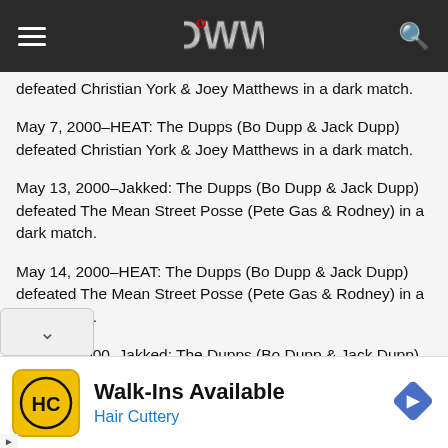OWW logo header with hamburger menu and search icon
defeated Christian York & Joey Matthews in a dark match.
May 7, 2000–HEAT: The Dupps (Bo Dupp & Jack Dupp) defeated Christian York & Joey Matthews in a dark match.
May 13, 2000–Jakked: The Dupps (Bo Dupp & Jack Dupp) defeated The Mean Street Posse (Pete Gas & Rodney) in a dark match.
May 14, 2000–HEAT: The Dupps (Bo Dupp & Jack Dupp) defeated The Mean Street Posse (Pete Gas & Rodney) in a dark match.
May 20, 2000–Jakked: The Dupps (Bo Dupp & Jack Dupp) defeated The Mean Street Posse (Pete Gas &
[Figure (infographic): Advertisement banner for Hair Cuttery with yellow HC logo icon, Walk-Ins Available text, Hair Cuttery subtitle in blue, and a blue diamond navigation arrow icon]